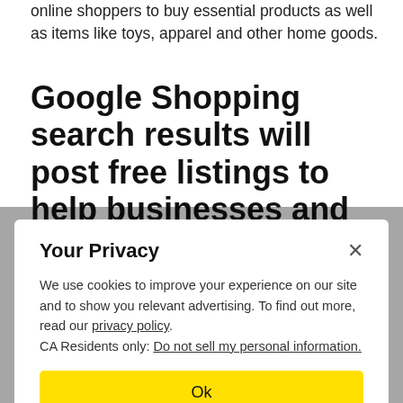online shoppers to buy essential products as well as items like toys, apparel and other home goods.
Google Shopping search results will post free listings to help businesses and shoppers
Your Privacy
We use cookies to improve your experience on our site and to show you relevant advertising. To find out more, read our privacy policy.
CA Residents only: Do not sell my personal information.
Ok